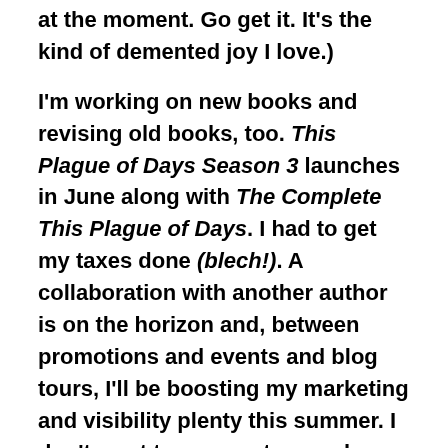at the moment. Go get it. It's the kind of demented joy I love.)
I'm working on new books and revising old books, too. This Plague of Days Season 3 launches in June along with The Complete This Plague of Days. I had to get my taxes done (blech!). A collaboration with another author is on the horizon and, between promotions and events and blog tours, I'll be boosting my marketing and visibility plenty this summer. I don't want to wear out my welcome by peaking too soon.
The problem is overwork and overexposure.
There's a podcast I loved to listen to that I'm now a